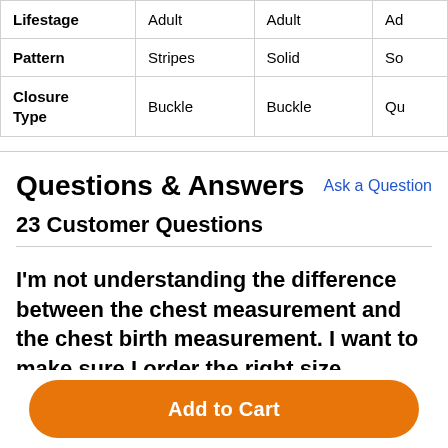|  | Col1 | Col2 | Col3 |
| --- | --- | --- | --- |
| Lifestage | Adult | Adult | Ad... |
| Pattern | Stripes | Solid | So... |
| Closure Type | Buckle | Buckle | Qu... |
Questions & Answers
Ask a Question
23 Customer Questions
I'm not understanding the difference between the chest measurement and the chest birth measurement. I want to make sure I order the right size.
Add to Cart